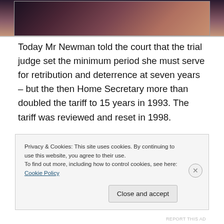[Figure (photo): Partial photo strip at top of page showing people, dark toned image]
Today Mr Newman told the court that the trial judge set the minimum period she must serve for retribution and deterrence at seven years – but the then Home Secretary more than doubled the tariff to 15 years in 1993. The tariff was reviewed and reset in 1998.
In November last year, the House of Lords ruled in the case of Anderson that it was incompatible with human rights laws for the Home Secretary to set tariffs for
Privacy & Cookies: This site uses cookies. By continuing to use this website, you agree to their use.
To find out more, including how to control cookies, see here: Cookie Policy
Close and accept